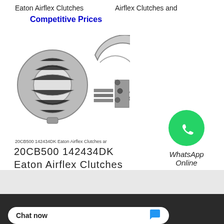Eaton Airflex Clutches
Airflex Clutches and
Competitive Prices
[Figure (photo): Two Eaton Airflex clutch components shown side by side — a full ring and a C-shaped half-ring, both metal industrial clutch parts]
20CB500 142434DK Eaton Airflex Clutches ar
20CB500 142434DK Eaton Airflex Clutches
[Figure (logo): WhatsApp green circle icon with phone handset]
WhatsApp Online
×
[Figure (other): Chat bubble with three dots indicating typing]
About Us | Contact Us | Site Map  Sitemaps
facturer. Copyright ©
Chat now